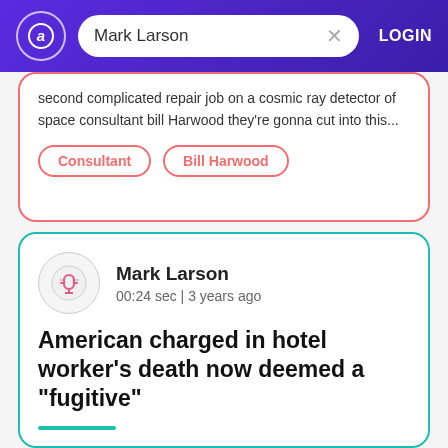Mark Larson LOGIN
second complicated repair job on a cosmic ray detector of space consultant bill Harwood they're gonna cut into this...
Consultant
Bill Harwood
Mark Larson
00:24 sec | 3 years ago
American charged in hotel worker's death now deemed a "fugitive"
"Hill new developments in the case of a Connecticut man facing charges in connection with the death of a hotel worker in the carribean hotel CBS's Errol Barnett the...